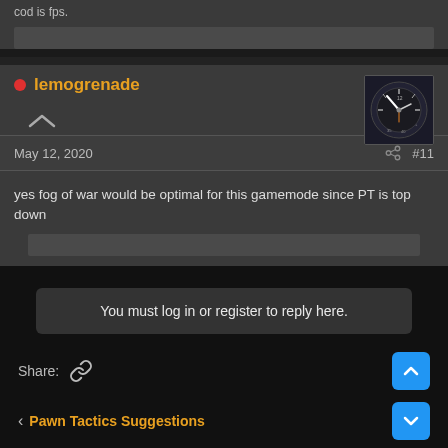cod is fps.
lemogrenade
May 12, 2020  #11
yes fog of war would be optimal for this gamemode since PT is top down
You must log in or register to reply here.
Share:
Pawn Tactics Suggestions